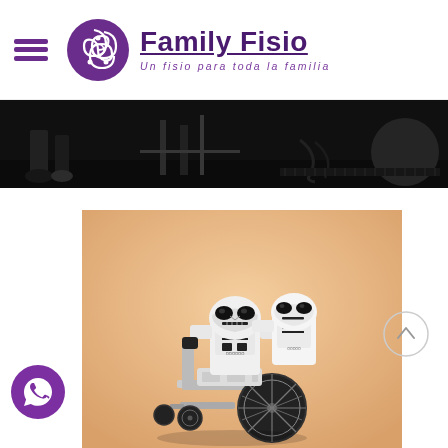Family Fisio — Un fisio para toda la familia
[Figure (photo): Dark grayscale banner photo of a physiotherapy clinic room with exercise equipment, a gym ball, and a person's feet visible]
[Figure (photo): LEGO Stormtrooper figurine in a wheelchair being pushed by another Stormtrooper figurine, against a warm beige/peach background]